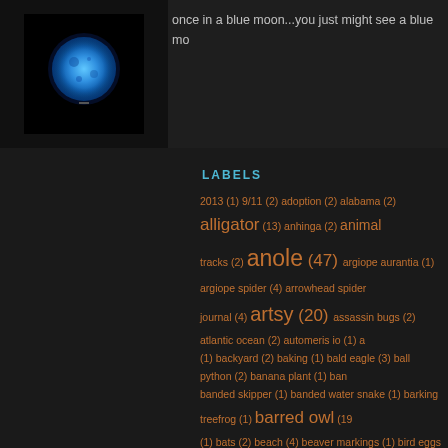[Figure (photo): Blue moon photograph — glowing blue circle against black background]
once in a blue moon...you just might see a blue mo
LABELS
2013 (1) 9/11 (2) adoption (2) alabama (2) alligator (13) anhinga (2) animal tracks (2) anole (47) argiope aurantia (1) argiope spider (4) arrowhead spider journal (4) artsy (20) assassin bugs (2) atlantic ocean (2) automeris io (1) a (1) backyard (2) baking (1) bald eagle (3) ball python (2) banana plant (1) ban banded skipper (1) banded water snake (1) barking treefrog (1) barred owl (19 (1) bats (2) beach (4) beaver markings (1) bird eggs (4) birds (22) black race (3) blackberry cobbler (2) blogger awards (1) blogging tips (1) blogs (1) blue moo (28) bone doodie (10) bone garden (9) bones (51) books (1) bottle box turtle (1) brown thrasher (1) buckeye (1) buckeye butterfly (5) bugs (24) butterflies (12) butterfly (54) buzzards (4) camera (1) camping candle holders (2) cane day (1) canoeing (2) cardinal (7) cat (2) caterp caterpillar (1) cattle (1) caverns (4) checkered skipper (2) cherokee rose (1) christmas (3) chrysanthemums (1) cicada (6) clouded skipper (2) cloudless s (7) cocoon (3) collections (9) computer glitch (4) coral snake (1) cormorants cows (7) crab spider (3) crafts (31) crow (4) crystals (1) damselflies (2) dead animals (19) death (6) deer (13) dewlap (1) diamondback rat woodpecker (3) dragonfly (42) driftwood (6) dudley farm (1) dung beetle eastern tiger (4) egret (5) emo (15) energy (1) environment (3) etsy